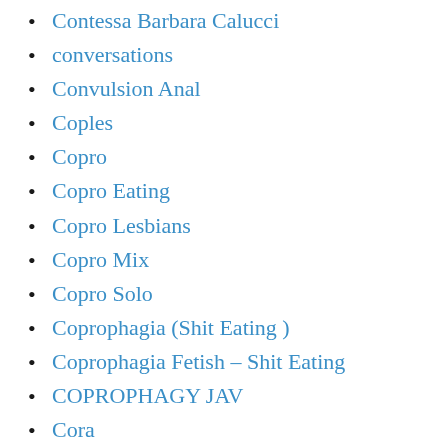Contessa Barbara Calucci
conversations
Convulsion Anal
Coples
Copro
Copro Eating
Copro Lesbians
Copro Mix
Copro Solo
Coprophagia (Shit Eating )
Coprophagia Fetish – Shit Eating
COPROPHAGY JAV
Cora
Cori's
Corn Dildo
corner